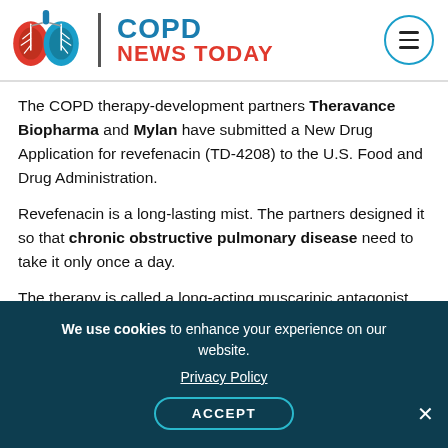[Figure (logo): COPD News Today logo with lungs illustration and brand name]
The COPD therapy-development partners Theravance Biopharma and Mylan have submitted a New Drug Application for revefenacin (TD-4208) to the U.S. Food and Drug Administration.
Revefenacin is a long-lasting mist. The partners designed it so that chronic obstructive pulmonary disease need to take it only once a day.
The therapy is called a long-acting muscarinic antagonist, or LAMA. It blocks a neurotransmitter called acetylcholine's ability to bind with
We use cookies to enhance your experience on our website.
Privacy Policy
ACCEPT